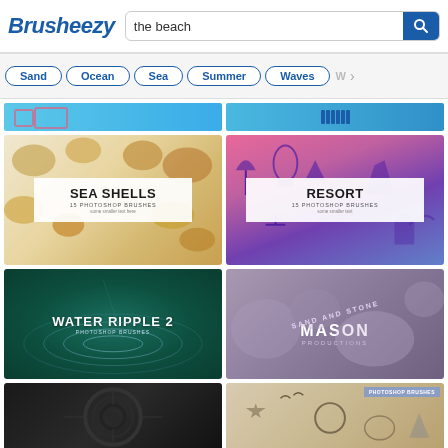Brusheezy — the beach
Sand
Ocean
Sea
Summer
Waves
[Figure (screenshot): Partial top strip showing two beach-themed search result thumbnails]
[Figure (screenshot): Sea Shells – 15 Photoshop Brushes product thumbnail with seashell photos on light background]
[Figure (screenshot): Resort – 15 Photoshop Brushes product thumbnail with pink-purple gradient background and resort silhouettes]
[Figure (screenshot): Water Ripple 2 Photoshop Brushes thumbnail on dark green background]
[Figure (screenshot): Sand and Stone – Mason Productions product thumbnail on sandy stone texture]
[Figure (screenshot): Dark circular abstract thumbnail]
[Figure (screenshot): Nautical Photoshop Brushes thumbnail with starfish and shell illustrations on aged paper]